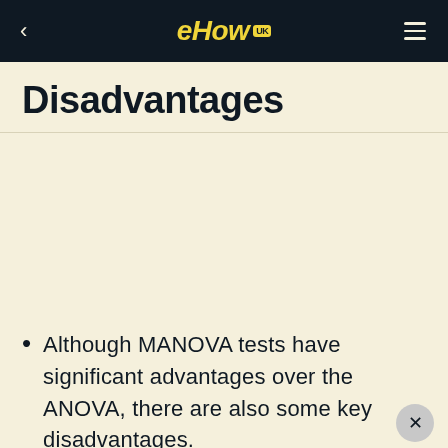eHow UK
Disadvantages
Although MANOVA tests have significant advantages over the ANOVA, there are also some key disadvantages.